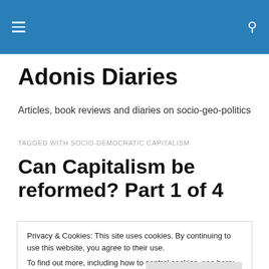Adonis Diaries — site navigation header with hamburger menu and search icon
Adonis Diaries
Articles, book reviews and diaries on socio-geo-politics
TAGGED WITH SOCIO-DEMOCRATIC CAPITALISM
Can Capitalism be reformed? Part 1 of 4
Privacy & Cookies: This site uses cookies. By continuing to use this website, you agree to their use.
To find out more, including how to control cookies, see here: Cookie Policy